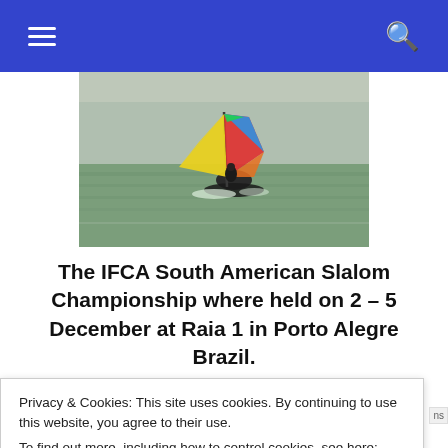Navigation menu and search icons on blue header bar
[Figure (photo): A windsurfer on choppy water with colorful sail, partial view, action shot]
The IFCA South American Slalom Championship where held on 2 – 5 December at Raia 1 in Porto Alegre Brazil.
40 competitors in several divisions where racing
Privacy & Cookies: This site uses cookies. By continuing to use this website, you agree to their use.
To find out more, including how to control cookies, see here: Privacy Policy
Close and accept
Lucas Trindade (BRA-101) and Nathan Westera